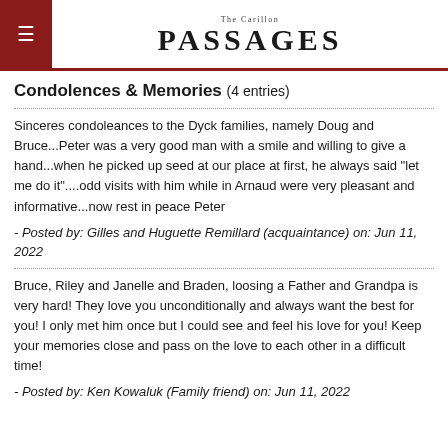The Carillon PASSAGES
Condolences & Memories (4 entries)
Sinceres condoleances to the Dyck families, namely Doug and Bruce...Peter was a very good man with a smile and willing to give a hand...when he picked up seed at our place at first, he always said "let me do it"....odd visits with him while in Arnaud were very pleasant and informative...now rest in peace Peter
- Posted by: Gilles and Huguette Remillard (acquaintance) on: Jun 11, 2022
Bruce, Riley and Janelle and Braden, loosing a Father and Grandpa is very hard! They love you unconditionally and always want the best for you! I only met him once but I could see and feel his love for you! Keep your memories close and pass on the love to each other in a difficult time!
- Posted by: Ken Kowaluk (Family friend) on: Jun 11, 2022